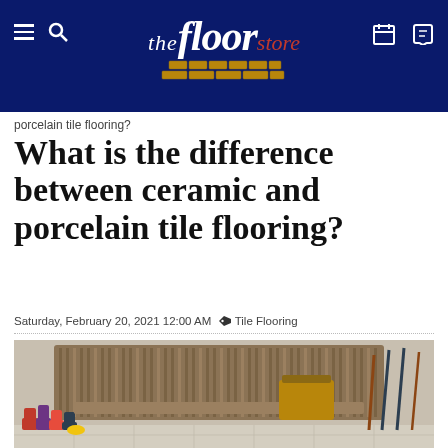the floor store
porcelain tile flooring?
What is the difference between ceramic and porcelain tile flooring?
Saturday, February 20, 2021 12:00 AM  Tile Flooring
[Figure (photo): Mudroom with a rustic wooden church pew bench, colorful rain boots underneath, a wicker basket on the bench, and umbrellas hanging on a rack to the right, with light tile flooring visible.]